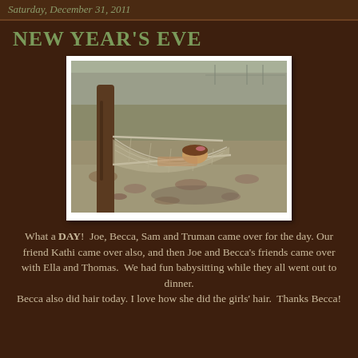Saturday, December 31, 2011
NEW YEAR'S EVE
[Figure (photo): A child lying in a hammock stretched between a tree and another anchor point, in a yard with dry grass and fallen leaves. Photo has a white border frame.]
What a DAY!  Joe, Becca, Sam and Truman came over for the day. Our friend Kathi came over also, and then Joe and Becca's friends came over with Ella and Thomas.  We had fun babysitting while they all went out to dinner. Becca also did hair today. I love how she did the girls' hair.  Thanks Becca!